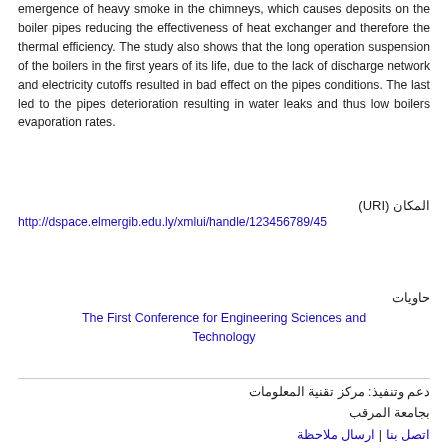emergence of heavy smoke in the chimneys, which causes deposits on the boiler pipes reducing the effectiveness of heat exchanger and therefore the thermal efficiency. The study also shows that the long operation suspension of the boilers in the first years of its life, due to the lack of discharge network and electricity cutoffs resulted in bad effect on the pipes conditions. The last led to the pipes deterioration resulting in water leaks and thus low boilers evaporation rates.
المكان (URI)
http://dspace.elmergib.edu.ly/xmlui/handle/123456789/45
حاويات
The First Conference for Engineering Sciences and Technology
دعم وتنفيذ: مركز تقنية المعلومات
بجامعة المرقب
اتصل بنا | ارسال ملاحظة